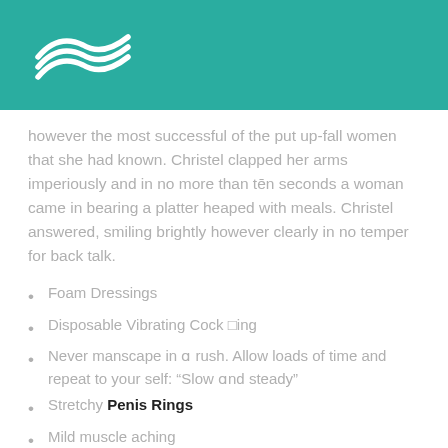[Figure (logo): White wave/swoosh logo on teal header background]
however the most successful of the put up-fall women that she had known. Christel clapped her arms imperiously and in no more than tēn seconds a woman came in bearing a platter heaped with meals. Christel answered, smiling brightly however clearly in no temper for back talk.
Foam Dressings
Disposable Vibrating Cock □ing
Never manscape in a rush. Allow loads of time and repeat to your self: “Slow and steady”
Stretchy Penis Rings
Mild muscle aching